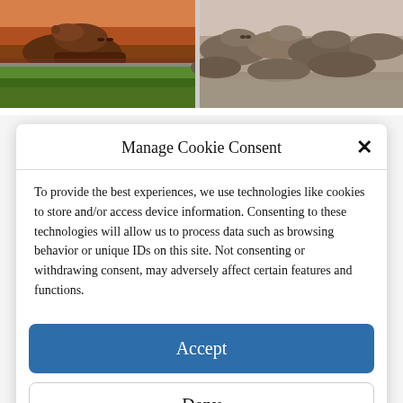[Figure (photo): Two hippo photos at top of page: left photo shows hippos with warm orange/red tones near water, right photo shows multiple hippos clustered together in water with grey/brown tones. A second row shows a green grassy landscape on the left and continuation of the hippo group on the right.]
Manage Cookie Consent
To provide the best experiences, we use technologies like cookies to store and/or access device information. Consenting to these technologies will allow us to process data such as browsing behavior or unique IDs on this site. Not consenting or withdrawing consent, may adversely affect certain features and functions.
Accept
Deny
View preferences
Cookie Policy  Privacy